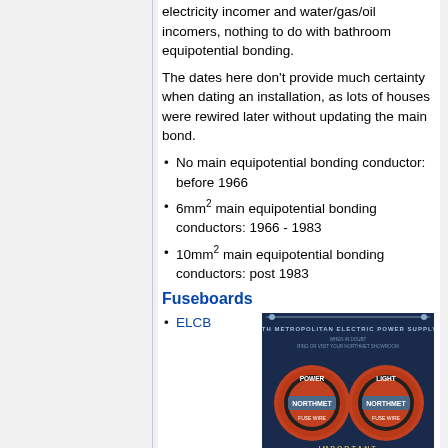electricity incomer and water/gas/oil incomers, nothing to do with bathroom equipotential bonding.
The dates here don't provide much certainty when dating an installation, as lots of houses were rewired later without updating the main bond.
No main equipotential bonding conductor: before 1966
6mm² main equipotential bonding conductors: 1966 - 1983
10mm² main equipotential bonding conductors: post 1983
Fuseboards
ELCB
[Figure (photo): Vintage North Metropolitan Electric Power Supply Co fuseboard with two circular Northmet fuse wire labels for Power and Light circuits, with IMPORTANT text at the bottom.]